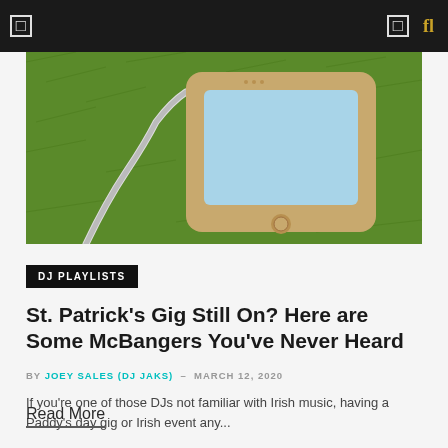[Figure (photo): Overhead view of a smartphone with an audio cable on a green textured surface]
DJ PLAYLISTS
St. Patrick's Gig Still On? Here are Some McBangers You've Never Heard
BY JOEY SALES (DJ JAKS) – MARCH 12, 2020
If you're one of those DJs not familiar with Irish music, having a Paddy's day gig or Irish event any...
Read More